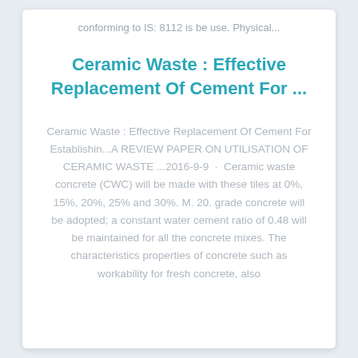conforming to IS: 8112 is be use. Physical...
Ceramic Waste : Effective Replacement Of Cement For ...
Ceramic Waste : Effective Replacement Of Cement For Establishin...A REVIEW PAPER ON UTILISATION OF CERAMIC WASTE ...2016-9-9 · Ceramic waste concrete (CWC) will be made with these tiles at 0%, 15%, 20%, 25% and 30%. M. 20. grade concrete will be adopted; a constant water cement ratio of 0.48 will be maintained for all the concrete mixes. The characteristics properties of concrete such as workability for fresh concrete, also